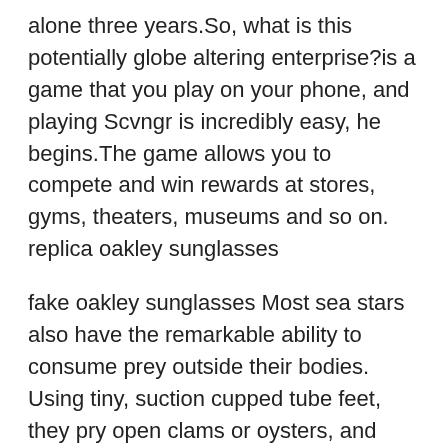alone three years.So, what is this potentially globe altering enterprise?is a game that you play on your phone, and playing Scvngr is incredibly easy, he begins.The game allows you to compete and win rewards at stores, gyms, theaters, museums and so on. replica oakley sunglasses
fake oakley sunglasses Most sea stars also have the remarkable ability to consume prey outside their bodies. Using tiny, suction cupped tube feet, they pry open clams or oysters, and their sack like cardiac stomach emerges from their mouth and oozes inside the shell. The stomach then envelops the prey to digest it, and finally withdraws back into the body.. fake oakley sunglasses